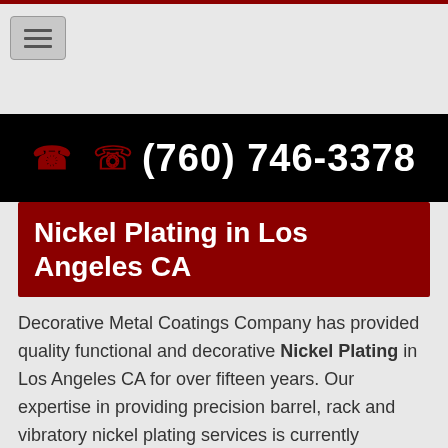[Figure (screenshot): Hamburger menu button icon in the top-left navigation area]
☎ ✆ (760) 746-3378
Nickel Plating in Los Angeles CA
Decorative Metal Coatings Company has provided quality functional and decorative Nickel Plating in Los Angeles CA for over fifteen years. Our expertise in providing precision barrel, rack and vibratory nickel plating services is currently employed in numerous industries.